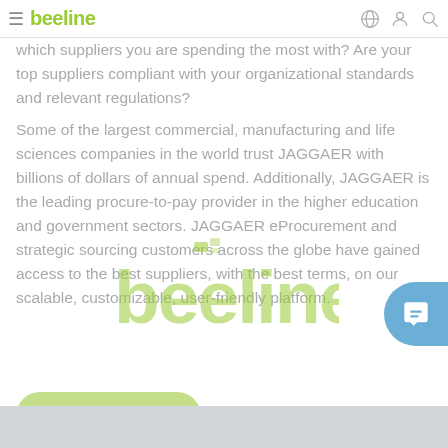beeline — navigation bar with hamburger menu, globe icon, user icon, search icon
which suppliers you are spending the most with? Are your top suppliers compliant with your organizational standards and relevant regulations?
Some of the largest commercial, manufacturing and life sciences companies in the world trust JAGGAER with billions of dollars of annual spend. Additionally, JAGGAER is the leading procure-to-pay provider in the higher education and government sectors. JAGGAER eProcurement and strategic sourcing customers across the globe have gained access to the best suppliers, with the best terms, on our scalable, customizable, user-friendly platform.
[Figure (logo): beeline watermark logo overlaid on text content]
Visit Website
Gray footer bar